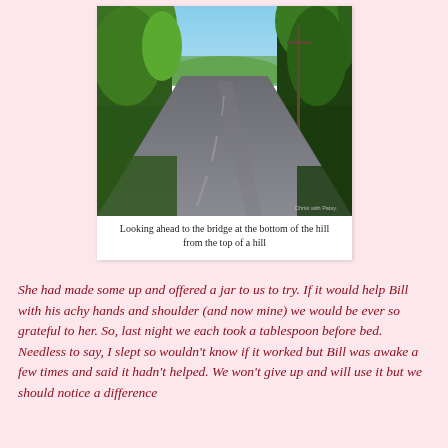[Figure (photo): A country road extending downhill toward a bridge at the bottom, flanked by green trees on both sides. Blue sky visible at the top. Photo credit 'Christ with Patsy' watermarked in the lower right.]
Looking ahead to the bridge at the bottom of the hill from the top of a hill
She had made some up and offered a jar to us to try. If it would help Bill with his achy hands and shoulder (and now mine) we would be ever so grateful to her. So, last night we each took a tablespoon before bed. Needless to say, I slept so wouldn't know if it worked but Bill was awake a few times and said it hadn't helped. We won't give up and will use it but we should notice a difference